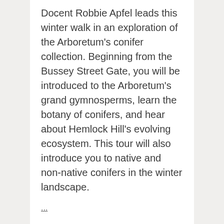Docent Robbie Apfel leads this winter walk in an exploration of the Arboretum's conifer collection. Beginning from the Bussey Street Gate, you will be introduced to the Arboretum's grand gymnosperms, learn the botany of conifers, and hear about Hemlock Hill's evolving ecosystem. This tour will also introduce you to native and non-native conifers in the winter landscape.
...